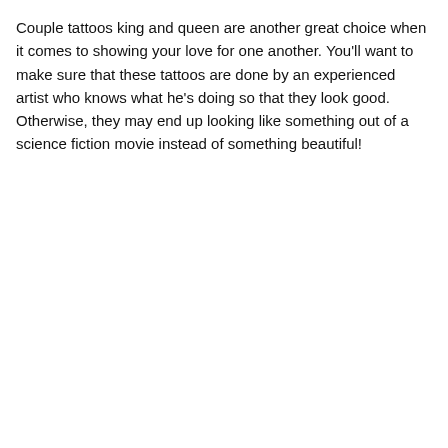Couple tattoos king and queen are another great choice when it comes to showing your love for one another. You'll want to make sure that these tattoos are done by an experienced artist who knows what he's doing so that they look good. Otherwise, they may end up looking like something out of a science fiction movie instead of something beautiful!